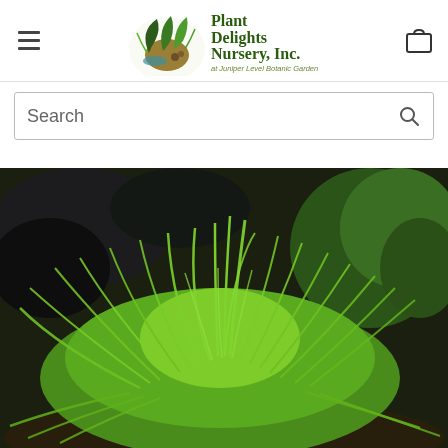Plant Delights Nursery, Inc. at Juniper Level Botanic Garden
[Figure (screenshot): Search bar input field with magnifying glass icon]
[Figure (photo): Close-up photo of a bright green ornamental carex grass plant (mounding sedge) in a garden setting with dark rocky background and green foliage]